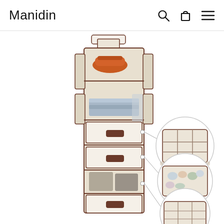Manidin
[Figure (photo): Product photo of a tall hanging closet organizer with multiple shelves and drawers in beige/cream fabric with dark brown trim. The organizer has open shelves at top storing a cap and folded clothes, followed by two rows of pull-out drawers with handles. Three circular inset detail images on the right show close-up views of the removable fabric drawer organizer inserts: top insert shows a divider compartment organizer, middle insert shows socks/underwear stored in compartments, bottom insert shows a shoe/cell compartment organizer. Lines connect the drawers on the main organizer to the corresponding circular detail images.]